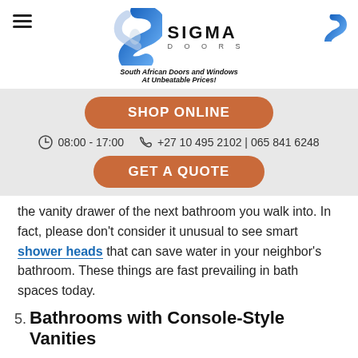Sigma Doors — South African Doors and Windows At Unbeatable Prices!
[Figure (screenshot): Shop Online orange button, contact hours 08:00-17:00 and phone numbers +27 10 495 2102 | 065 841 6248, Get A Quote orange button on grey background]
the vanity drawer of the next bathroom you walk into. In fact, please don't consider it unusual to see smart shower heads that can save water in your neighbor's bathroom. These things are fast prevailing in bath spaces today.
5. Bathrooms with Console-Style Vanities
Talk of the biggest bathroom trends and you can't leave Console-Style Vanities out. Massive furnishings are now giving way for the more space effective console-style